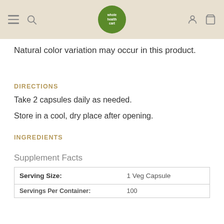whole health cart — navigation header
Natural color variation may occur in this product.
DIRECTIONS
Take 2 capsules daily as needed.
Store in a cool, dry place after opening.
INGREDIENTS
Supplement Facts
| Serving Size: | 1 Veg Capsule |
| Servings Per Container: | 100 |